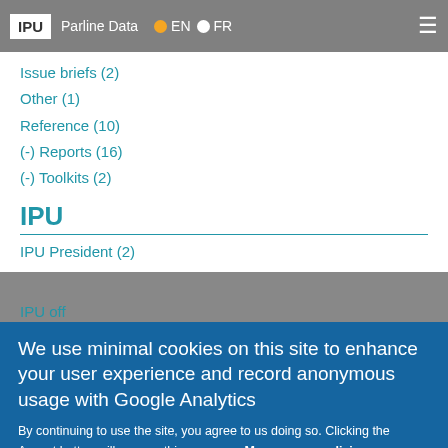IPU | Parline Data | EN | FR
Issue briefs (2)
Other (1)
Reference (10)
(-) Reports (16)
(-) Toolkits (2)
IPU
IPU President (2)
IPU...
We use minimal cookies on this site to enhance your user experience and record anonymous usage with Google Analytics
By continuing to use the site, you agree to us doing so. Clicking the Accept button will remove this message. More on our policies